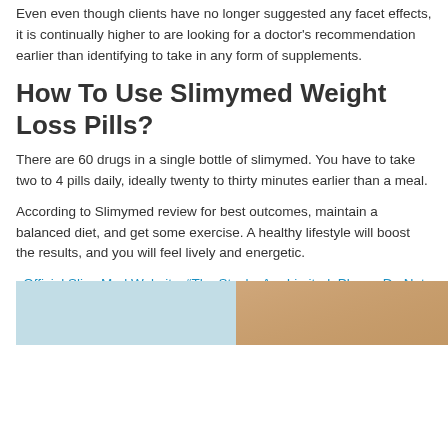Even even though clients have no longer suggested any facet effects, it is continually higher to are looking for a doctor's recommendation earlier than identifying to take in any form of supplements.
How To Use Slimymed Weight Loss Pills?
There are 60 drugs in a single bottle of slimymed. You have to take two to 4 pills daily, ideally twenty to thirty minutes earlier than a meal.
According to Slimymed review for best outcomes, maintain a balanced diet, and get some exercise. A healthy lifestyle will boost the results, and you will feel lively and energetic.
Official SlimyMed Website: “The Stocks Are Limited, Please Do Not Hesitate To Contact Us If You Got The (Out Of Stock) Error Message When Ordering”…Read More / Contact SlimyMed (Click Here)
[Figure (photo): Photo strip showing body/fitness image split in two sections — left portion has a light blue background, right portion shows a torso/body closeup with warm skin tones.]